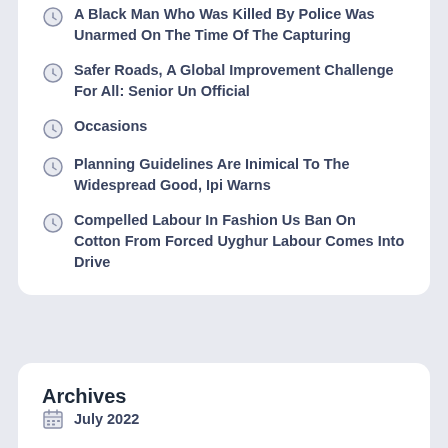A Black Man Who Was Killed By Police Was Unarmed On The Time Of The Capturing
Safer Roads, A Global Improvement Challenge For All: Senior Un Official
Occasions
Planning Guidelines Are Inimical To The Widespread Good, Ipi Warns
Compelled Labour In Fashion Us Ban On Cotton From Forced Uyghur Labour Comes Into Drive
Archives
July 2022